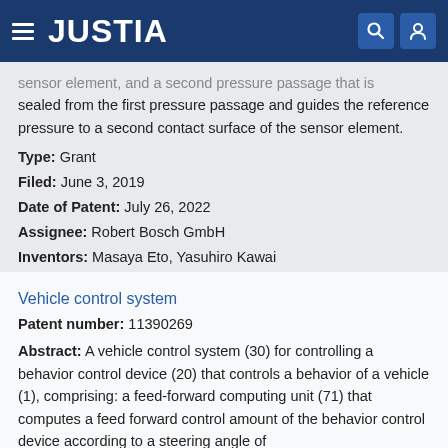JUSTIA
sensor element, and a second pressure passage that is sealed from the first pressure passage and guides the reference pressure to a second contact surface of the sensor element.
Type: Grant
Filed: June 3, 2019
Date of Patent: July 26, 2022
Assignee: Robert Bosch GmbH
Inventors: Masaya Eto, Yasuhiro Kawai
Vehicle control system
Patent number: 11390269
Abstract: A vehicle control system (30) for controlling a behavior control device (20) that controls a behavior of a vehicle (1), comprising: a feed-forward computing unit (71) that computes a feed forward control amount of the behavior control device according to a steering angle of